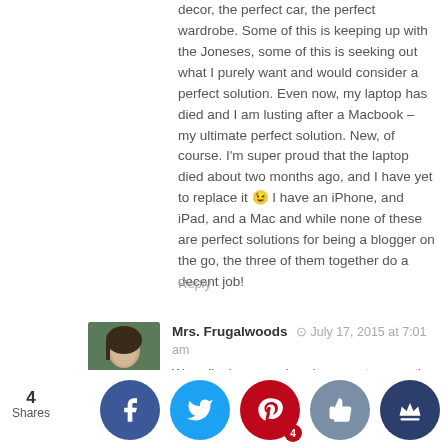decor, the perfect car, the perfect wardrobe. Some of this is keeping up with the Joneses, some of this is seeking out what I purely want and would consider a perfect solution. Even now, my laptop has died and I am lusting after a Macbook – my ultimate perfect solution. New, of course. I'm super proud that the laptop died about two months ago, and I have yet to replace it 😉 I have an iPhone, and iPad, and a Mac and while none of these are perfect solutions for being a blogger on the go, the three of them together do a decent job!
Reply
Mrs. Frugalwoods  July 17, 2015 at 7:01 am
Wow–I'm impressed you've gone two months without a laptop! That is stellar! Not to be the one to tell you to spend money, but, we've had wonderful experiences with Macbooks. My last Mac lasted 7 years, which I'd consider a frugal win ;). We usually buy our Apple products through their "refurbished" store, which is cheaper (it's used stuff that's been reliably refurbished).
[Figure (infographic): Social sharing bar with 4 Shares count and buttons for Facebook, Twitter, Pinterest, Like (thumbs up), and Crown/Bloglovin]